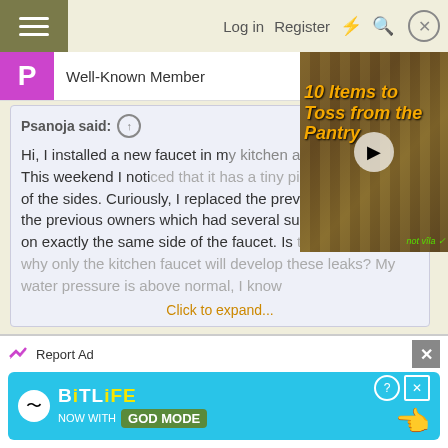Log in   Register
Well-Known Member
Psanoja said: ↑
Hi, I installed a new faucet in my kitchen a few years ago. This weekend I noticed that it has a tiny pinhole leak in one of the sides. Curiously, I replaced the previous faucet left by the previous owners which had several such pinhole leaks on exactly the same side of the faucet. Is there any reason why only the kitchen faucet will develop these leaks? My water pressure is above normal, I know
Click to expand...
[Figure (screenshot): Video thumbnail showing pantry items with title '10 Items to Toss from the Pantry' and a play button overlay]
Do you drape a bleach soaked cloth over that one spot?
Report Ad
[Figure (screenshot): BitLife advertisement banner — 'NOW WITH GOD MODE']